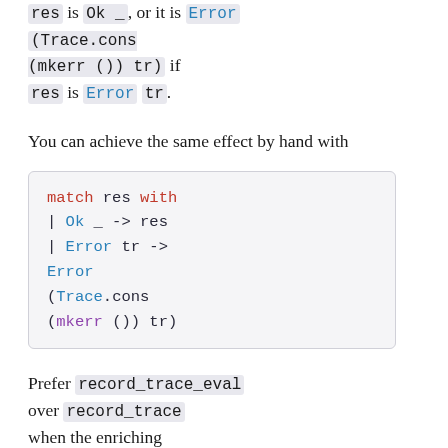res is Ok _, or it is Error (Trace.cons (mkerr ()) tr) if res is Error tr.
You can achieve the same effect by hand with
match res with
| Ok _ -> res
| Error tr ->
  Error
  (Trace.cons
  (mkerr ()) tr)
Prefer record_trace_eval over record_trace when the enriching